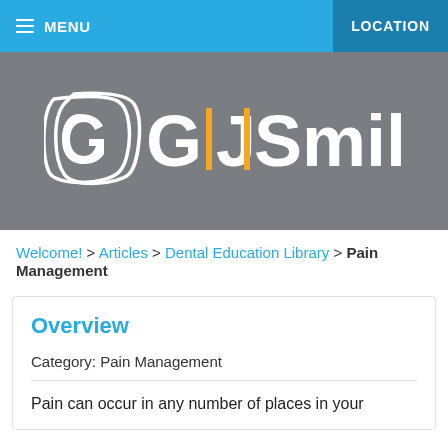≡ MENU   LOCATION
[Figure (logo): GJI Smiles dental practice logo — white stylized 'G' icon and 'G|J|Smiles' wordmark with gold vertical bar accents on a gray background]
Welcome! > Articles > Dental Education Library > Pain Management
Overview
Category: Pain Management
Pain can occur in any number of places in your